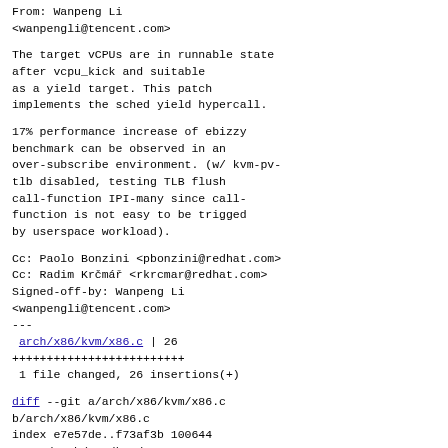From: Wanpeng Li
<wanpengli@tencent.com>
The target vCPUs are in runnable state after vcpu_kick and suitable as a yield target. This patch implements the sched yield hypercall.
17% performance increase of ebizzy benchmark can be observed in an over-subscribe environment. (w/ kvm-pv-tlb disabled, testing TLB flush call-function IPI-many since call-function is not easy to be trigged by userspace workload).
Cc: Paolo Bonzini <pbonzini@redhat.com>
Cc: Radim Krčmář <rkrcmar@redhat.com>
Signed-off-by: Wanpeng Li
<wanpengli@tencent.com>
---
 arch/x86/kvm/x86.c | 26
+++++++++++++++++++++++++
 1 file changed, 26 insertions(+)
diff --git a/arch/x86/kvm/x86.c b/arch/x86/kvm/x86.c
index e7e57de..f73af3b 100644
--- a/arch/x86/kvm/x86.c
+++ b/arch/x86/kvm/x86.c
@@ -7172,6 +7172,32 @@ void